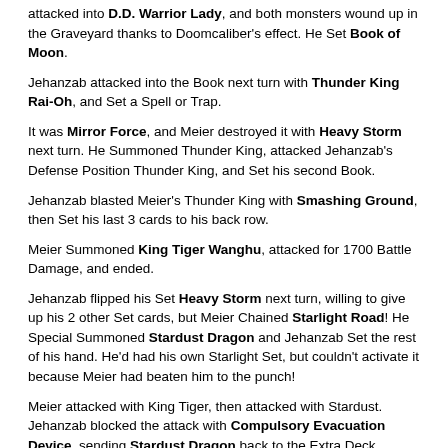attacked into D.D. Warrior Lady, and both monsters wound up in the Graveyard thanks to Doomcaliber's effect. He Set Book of Moon.
Jehanzab attacked into the Book next turn with Thunder King Rai-Oh, and Set a Spell or Trap.
It was Mirror Force, and Meier destroyed it with Heavy Storm next turn. He Summoned Thunder King, attacked Jehanzab's Defense Position Thunder King, and Set his second Book.
Jehanzab blasted Meier's Thunder King with Smashing Ground, then Set his last 3 cards to his back row.
Meier Summoned King Tiger Wanghu, attacked for 1700 Battle Damage, and ended.
Jehanzab flipped his Set Heavy Storm next turn, willing to give up his 2 other Set cards, but Meier Chained Starlight Road! He Special Summoned Stardust Dragon and Jehanzab Set the rest of his hand. He'd had his own Starlight Set, but couldn't activate it because Meier had beaten him to the punch!
Meier attacked with King Tiger, then attacked with Stardust. Jehanzab blocked the attack with Compulsory Evacuation Device, sending Stardust Dragon back to the Extra Deck.
Jehanzab Set a Spell or Trap.
Meier attacked for another 1700 Battle Damage with King Tiger, and Set another card to his Spell and Trap Card Zone.